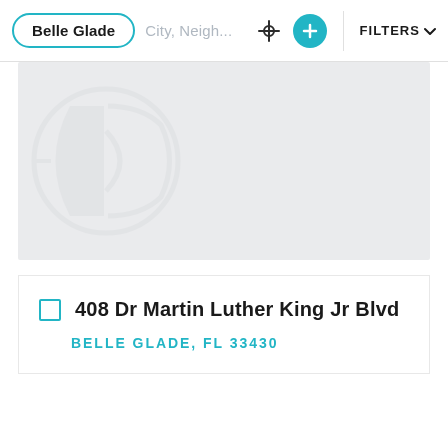Belle Glade | City, Neigh... | FILTERS
[Figure (photo): Gray placeholder property image with a faint circular logo watermark in the lower left area]
408 Dr Martin Luther King Jr Blvd
BELLE GLADE, FL 33430